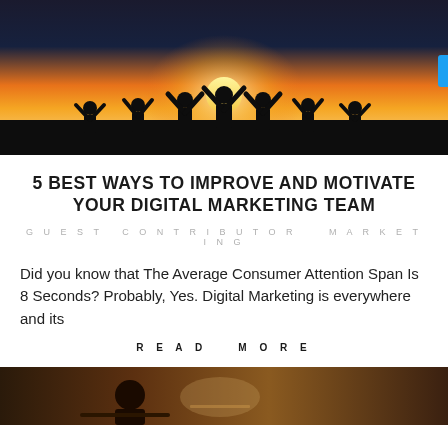[Figure (photo): Silhouettes of a group of people with arms raised against a sunset sky background]
5 BEST WAYS TO IMPROVE AND MOTIVATE YOUR DIGITAL MARKETING TEAM
GUEST CONTRIBUTOR   MARKETING
Did you know that The Average Consumer Attention Span Is 8 Seconds? Probably, Yes. Digital Marketing is everywhere and its
READ MORE
[Figure (photo): Partial view of another article image at the bottom of the page]